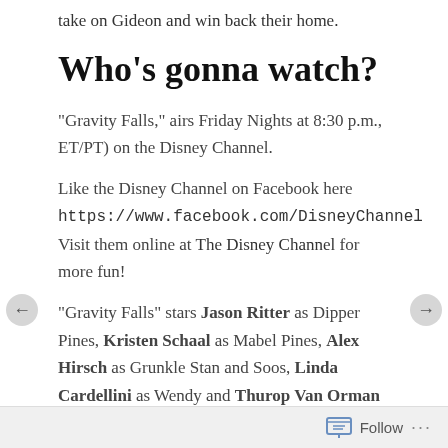take on Gideon and win back their home.
Who's gonna watch?
“Gravity Falls,” airs Friday Nights at 8:30 p.m., ET/PT) on the Disney Channel.
Like the Disney Channel on Facebook here https://www.facebook.com/DisneyChannel Visit them online at The Disney Channel for more fun!
“Gravity Falls” stars Jason Ritter as Dipper Pines, Kristen Schaal as Mabel Pines, Alex Hirsch as Grunkle Stan and Soos, Linda Cardellini as Wendy and Thurop Van Orman as Li’l Gideon. The animated series is a production of Disney Television Animation.
Why I gave Select?